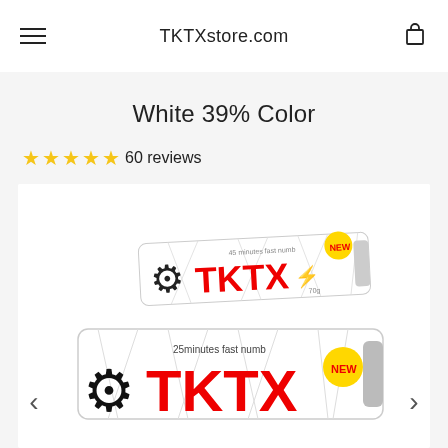TKTXstore.com
White 39% Color
60 reviews
[Figure (photo): Product photo of TKTX numbing cream tubes (white packaging with red TKTX logo) showing '25 minutes fast numb' and 'NEW' badge]